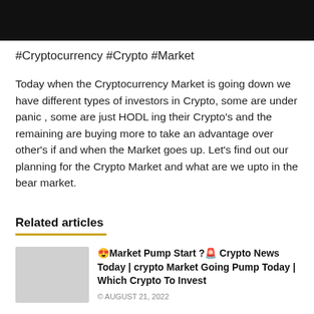[Figure (other): Black banner/header bar at the top of the page]
#Cryptocurrency #Crypto #Market
Today when the Cryptocurrency Market is going down we have different types of investors in Crypto, some are under panic , some are just HODLing their Crypto’s and the remaining are buying more to take an advantage over other’s if and when the Market goes up. Let’s find out our planning for the Crypto Market and what are we upto in the bear market.
Related articles
😍‍Market Pump Start ?🚨 Crypto News Today | crypto Market Going Pump Today | Which Crypto To Invest
© AUGUST 21, 2022